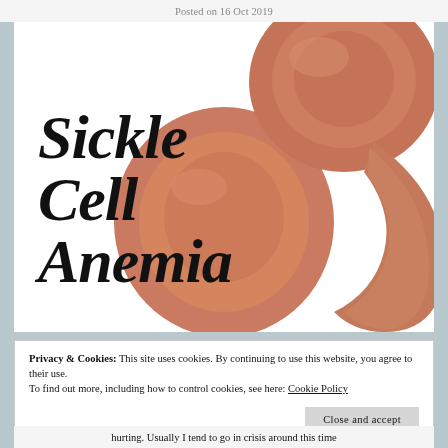Posted on 16 Oct 2019
[Figure (illustration): Medical illustration of sickle-shaped red blood cells in salmon/pink color on white background, with large italic black text 'Sickle Cell Anemia' overlaid]
Privacy & Cookies: This site uses cookies. By continuing to use this website, you agree to their use.
To find out more, including how to control cookies, see here: Cookie Policy
Close and accept
hurting. Usually I tend to go in crisis around this time